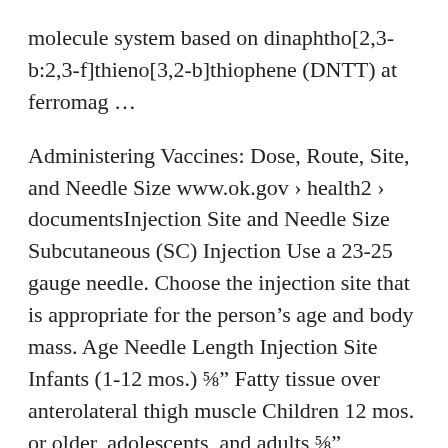molecule system based on dinaphtho[2,3-b:2,3-f]thieno[3,2-b]thiophene (DNTT) at ferromag …
Administering Vaccines: Dose, Route, Site, and Needle Size www.ok.gov › health2 › documentsInjection Site and Needle Size Subcutaneous (SC) Injection Use a 23-25 gauge needle. Choose the injection site that is appropriate for the person's age and body mass. Age Needle Length Injection Site Infants (1-12 mos.) ⅝″ Fatty tissue over anterolateral thigh muscle Children 12 mos. or older, adolescents, and adults ⅝″
IMM Review: Plastic Injection Molding: Manufacturing Process ... IMM Review: Plastic Injection Molding: Manufacturing Process Fundamentals. D ouglas M. Bryce's latest book is aimed primarily at newcomers to the injection molding industry. In the preface, the author states, ìI decided to write a source of basic, fundamental